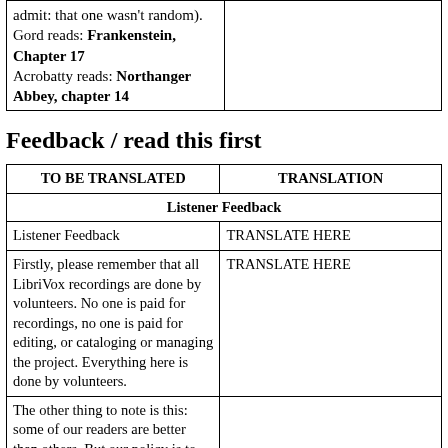|  |  |
| --- | --- |
| admit: that one wasn't random). Gord reads: Frankenstein, Chapter 17
Acrobatty reads: Northanger Abbey, chapter 14 |  |
Feedback / read this first
| TO BE TRANSLATED | TRANSLATION |
| --- | --- |
| Listener Feedback | Listener Feedback |
| Listener Feedback | TRANSLATE HERE |
| Firstly, please remember that all LibriVox recordings are done by volunteers. No one is paid for recordings, no one is paid for editing, or cataloging or managing the project. Everything here is done by volunteers. | TRANSLATE HERE |
| The other thing to note is this: some of our readers are better than others. But our policy is to accept ANY volunteer reader... |  |